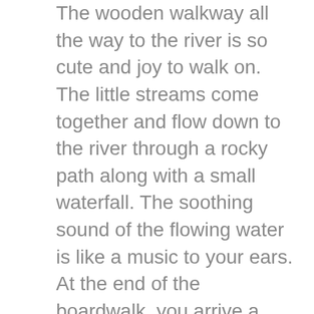The wooden walkway all the way to the river is so cute and joy to walk on. The little streams come together and flow down to the river through a rocky path along with a small waterfall. The soothing sound of the flowing water is like a music to your ears. At the end of the boardwalk, you arrive a nice look out by the river. This is where we take our first break watching the birds bathing in the water and the people rafting on the river. From there we took a steep climb which wasn't long and we were on the top of a hill overlooking Bow River, Paskapoo Slops, bridges and railroads. This is my favourite spot to take photos. The view is amazing, sky is beautiful. I never did a family session here as there is some hiking and climbing involved, but I would love to if anyone is interested. From here you have a